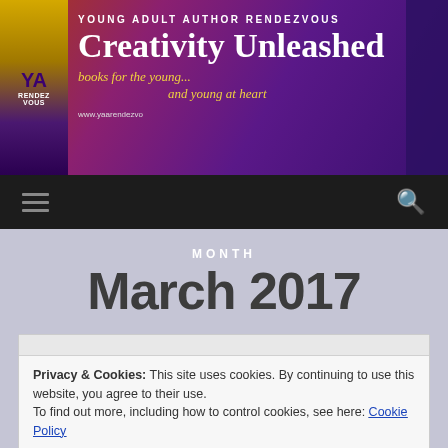[Figure (screenshot): Young Adult Author Rendezvous website banner — 'Creativity Unleashed, books for the young... and young at heart' with purple/orange gradient background]
YOUNG ADULT AUTHOR RENDEZVOUS
Creativity Unleashed
books for the young... and young at heart
www.yaarendezvo...
≡  🔍
MONTH
March 2017
Privacy & Cookies: This site uses cookies. By continuing to use this website, you agree to their use.
To find out more, including how to control cookies, see here: Cookie Policy
Close and accept